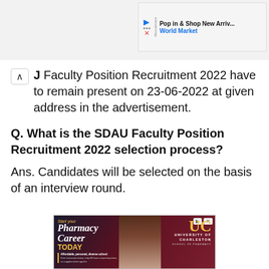[Figure (screenshot): Top advertisement banner: Pop in & Shop New Arrivals - World Market]
J Faculty Position Recruitment 2022 have to remain present on 23-06-2022 at given address in the advertisement.
Q. What is the SDAU Faculty Position Recruitment 2022 selection process?
Ans. Candidates will be selected on the basis of an interview round.
[Figure (screenshot): Bottom advertisement banner: University of Charleston School of Pharmacy - Start your Pharmacy Career TODAY]